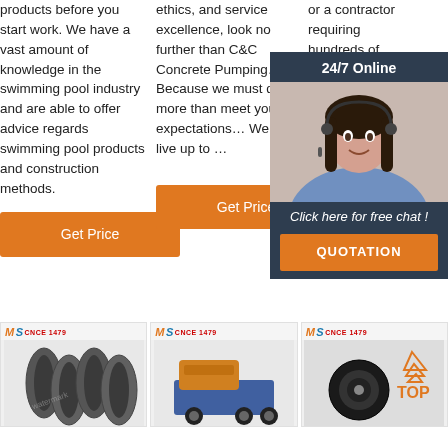products before you start work. We have a vast amount of knowledge in the swimming pool industry and are able to offer advice regards swimming pool products and construction methods.
ethics, and service excellence, look no further than C&C Concrete Pumping… Because we must do more than meet your expectations… We must live up to …
or a contractor requiring hundreds of yards, you will find the quality of service the same no matter the size of your job. More...
24/7 Online
[Figure (photo): Customer service representative woman wearing headset, smiling]
Click here for free chat !
QUOTATION
Get Price
Get Price
Get Price
[Figure (photo): Grey pipes product image with brand logo]
[Figure (photo): Yellow and blue concrete pump machine with brand logo]
[Figure (photo): Black cable coil product image with TOP badge, brand logo]